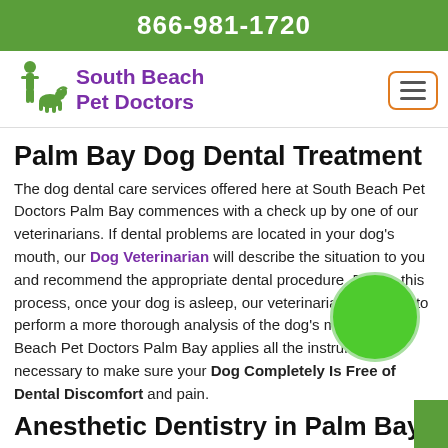866-981-1720
[Figure (logo): South Beach Pet Doctors logo with green silhouette of person and dog, purple text reading South Beach Pet Doctors]
Palm Bay Dog Dental Treatment
The dog dental care services offered here at South Beach Pet Doctors Palm Bay commences with a check up by one of our veterinarians. If dental problems are located in your dog's mouth, our Dog Veterinarian will describe the situation to you and recommend the appropriate dental procedure. During this process, once your dog is asleep, our veterinarians are able to perform a more thorough analysis of the dog's mouth. South Beach Pet Doctors Palm Bay applies all the instruments necessary to make sure your Dog Completely Is Free of Dental Discomfort and pain.
Anesthetic Dentistry in Palm Bay